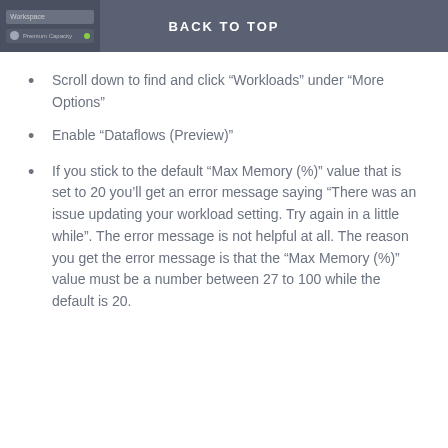BACK TO TOP
Scroll down to find and click “Workloads” under “More Options”
Enable “Dataflows (Preview)”
If you stick to the default “Max Memory (%)” value that is set to 20 you’ll get an error message saying “There was an issue updating your workload setting. Try again in a little while”. The error message is not helpful at all. The reason you get the error message is that the “Max Memory (%)” value must be a number between 27 to 100 while the default is 20.